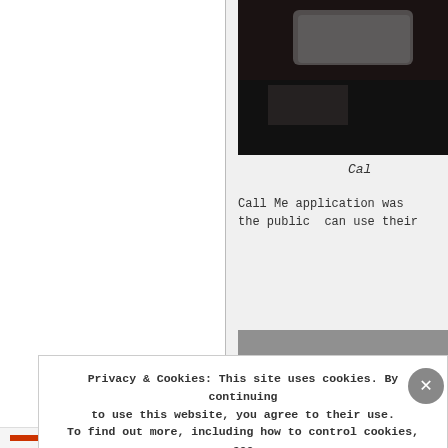[Figure (photo): Dark photo showing a device or tray on a dark background, top right area]
Cal
Call Me application was the public  can use their pre
[Figure (photo): Gray textured surface photo, bottom right area]
Privacy & Cookies: This site uses cookies. By continuing to use this website, you agree to their use.
To find out more, including how to control cookies, see here: Cookie Policy
Close and accept
AIRPORT-THE.co